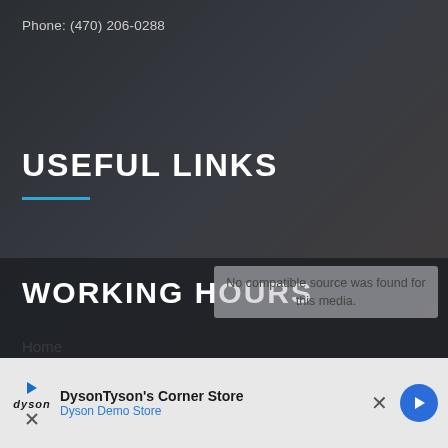Phone: (470) 206-0288
USEFUL LINKS
Home
About Us
Blog
Terms & Conditions
Privacy Policy
Contact Us
WORKING HOURS
No compatible source was found for this media.
DysonTyson's Corner Store
Dyson Demo Store